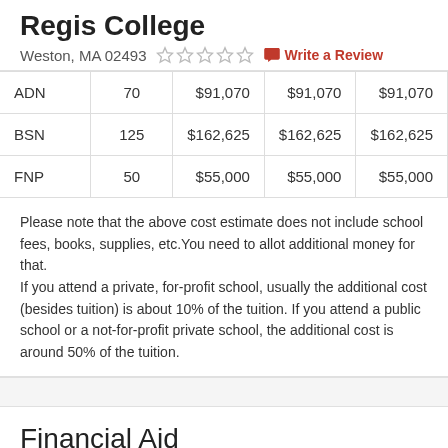Regis College
Weston, MA 02493
| Program | Credits | Cost1 | Cost2 | Cost3 |
| --- | --- | --- | --- | --- |
| ADN | 70 | $91,070 | $91,070 | $91,070 |
| BSN | 125 | $162,625 | $162,625 | $162,625 |
| FNP | 50 | $55,000 | $55,000 | $55,000 |
Please note that the above cost estimate does not include school fees, books, supplies, etc.You need to allot additional money for that. If you attend a private, for-profit school, usually the additional cost (besides tuition) is about 10% of the tuition. If you attend a public school or a not-for-profit private school, the additional cost is around 50% of the tuition.
Financial Aid
In 2017-2018 academic year, 100% of Regis College's students